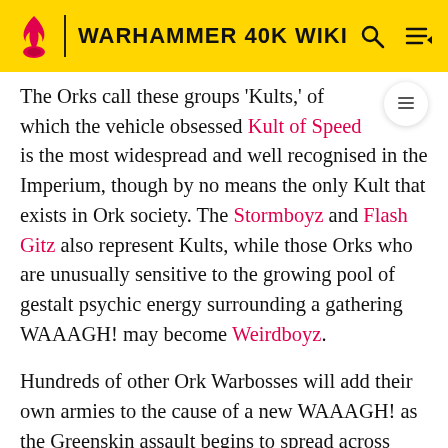WARHAMMER 40K WIKI
The Orks call these groups 'Kults,' of which the vehicle obsessed Kult of Speed is the most widespread and well recognised in the Imperium, though by no means the only Kult that exists in Ork society. The Stormboyz and Flash Gitz also represent Kults, while those Orks who are unusually sensitive to the growing pool of gestalt psychic energy surrounding a gathering WAAAGH! may become Weirdboyz.
Hundreds of other Ork Warbosses will add their own armies to the cause of a new WAAAGH! as the Greenskin assault begins to spread across whole star systems rather than just a single world. Entire native planetary populations are forced into slavery to their new Greenskin masters to manufacture ammunition for the horde's guns